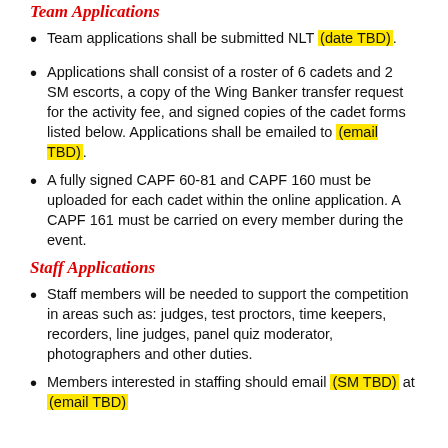Team Applications
Team applications shall be submitted NLT (date TBD).
Applications shall consist of a roster of 6 cadets and 2 SM escorts, a copy of the Wing Banker transfer request for the activity fee, and signed copies of the cadet forms listed below. Applications shall be emailed to (email TBD).
A fully signed CAPF 60-81 and CAPF 160 must be uploaded for each cadet within the online application. A CAPF 161 must be carried on every member during the event.
Staff Applications
Staff members will be needed to support the competition in areas such as: judges, test proctors, time keepers, recorders, line judges, panel quiz moderator, photographers and other duties.
Members interested in staffing should email (SM TBD) at (email TBD)